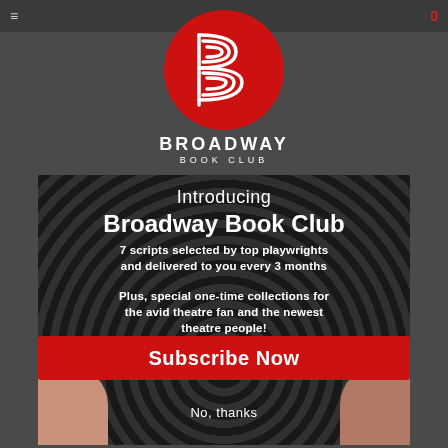[Figure (logo): Broadway Book Club red circle logo with stylized B letter mark, white text BROADWAY BOOK CLUB below]
Introducing Broadway Book Club
7 scripts selected by top playwrights and delivered to you every 3 months
Plus, special one-time collections for the avid theatre fan and the newest theatre people!
Subscribe Now
No, thanks